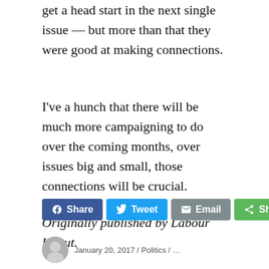get a head start in the next single issue — but more than that they were good at making connections.
I've a hunch that there will be much more campaigning to do over the coming months, over issues big and small, those connections will be crucial.
Originally published by Labour Uncut.
[Figure (other): Social share buttons: Facebook Share, Twitter Tweet, Email, Share (green), and Like 0 (blue)]
[Figure (other): Author avatar circle and byline text at bottom]